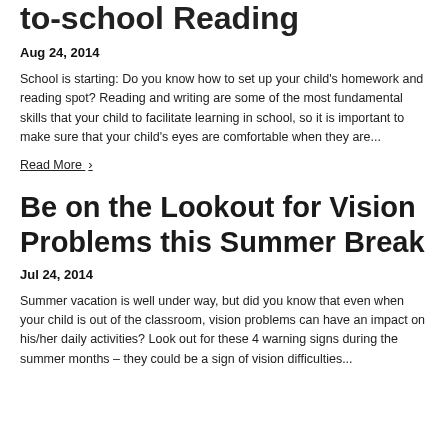to-school Reading
Aug 24, 2014
School is starting: Do you know how to set up your child's homework and reading spot? Reading and writing are some of the most fundamental skills that your child to facilitate learning in school, so it is important to make sure that your child's eyes are comfortable when they are...
Read More ›
Be on the Lookout for Vision Problems this Summer Break
Jul 24, 2014
Summer vacation is well under way, but did you know that even when your child is out of the classroom, vision problems can have an impact on his/her daily activities? Look out for these 4 warning signs during the summer months – they could be a sign of vision difficulties...